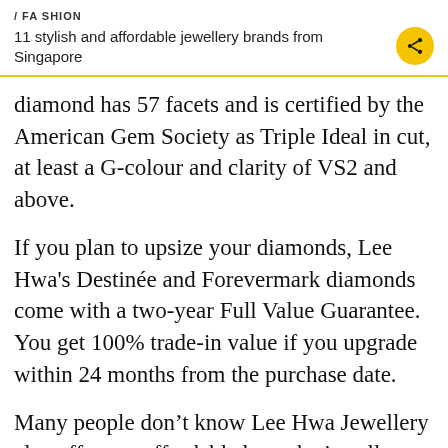/ FASHION
11 stylish and affordable jewellery brands from Singapore
diamond has 57 facets and is certified by the American Gem Society as Triple Ideal in cut, at least a G-colour and clarity of VS2 and above.
If you plan to upsize your diamonds, Lee Hwa's Destinée and Forevermark diamonds come with a two-year Full Value Guarantee. You get 100% trade-in value if you upgrade within 24 months from the purchase date.
Many people don't know Lee Hwa Jewellery also offers an affordable bespoke jewellery service. A consultation fee of S$50 gets you meeting with a designer, your own design, and up to two